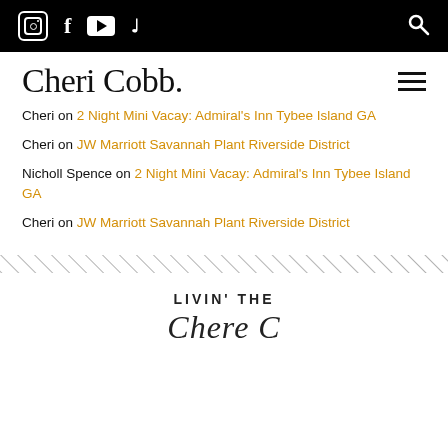Social media icons (Instagram, Facebook, YouTube, TikTok) and search icon in black top bar
Cheri Cobb.
Cheri on 2 Night Mini Vacay: Admiral's Inn Tybee Island GA
Cheri on JW Marriott Savannah Plant Riverside District
Nicholl Spence on 2 Night Mini Vacay: Admiral's Inn Tybee Island GA
Cheri on JW Marriott Savannah Plant Riverside District
[Figure (other): Diagonal stripe divider line across page width]
LIVIN' THE
Cursive script text (partially visible)